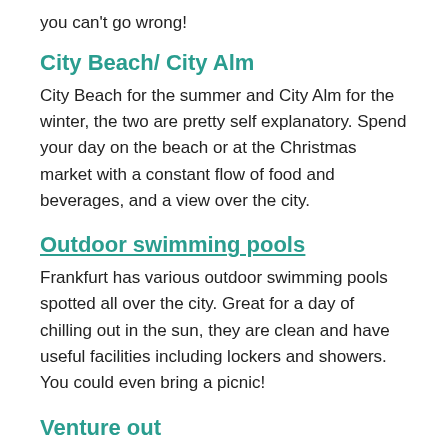you can't go wrong!
City Beach/ City Alm
City Beach for the summer and City Alm for the winter, the two are pretty self explanatory. Spend your day on the beach or at the Christmas market with a constant flow of food and beverages, and a view over the city.
Outdoor swimming pools
Frankfurt has various outdoor swimming pools spotted all over the city. Great for a day of chilling out in the sun, they are clean and have useful facilities including lockers and showers. You could even bring a picnic!
Venture out
Are your visitors with you for an extra long weekend? Or perhaps they've been to Frankfurt